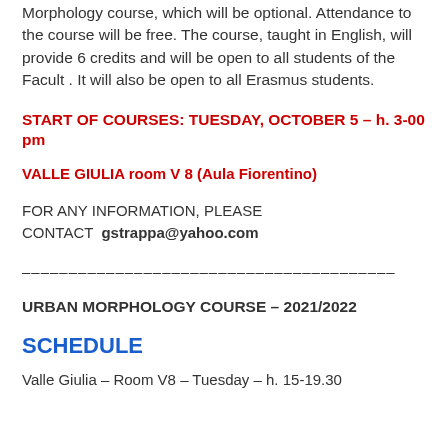Morphology course, which will be optional. Attendance to the course will be free. The course, taught in English, will provide 6 credits and will be open to all students of the Facult . It will also be open to all Erasmus students.
START OF COURSES:  TUESDAY, OCTOBER 5 – h. 3-00 pm
VALLE GIULIA room V 8 (Aula Fiorentino)
FOR ANY INFORMATION, PLEASE CONTACT  gstrappa@yahoo.com
———————————————————————
URBAN MORPHOLOGY COURSE –  2021/2022
SCHEDULE
Valle Giulia – Room V8 – Tuesday – h. 15-19.30